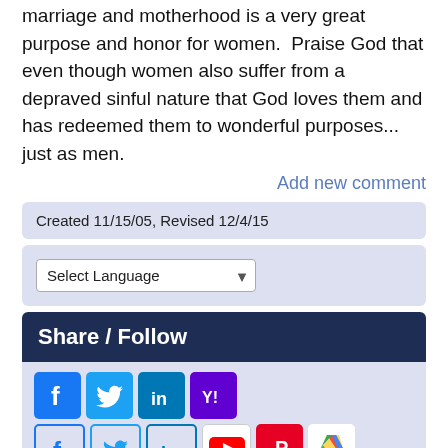marriage and motherhood is a very great purpose and honor for women.  Praise God that even though women also suffer from a depraved sinful nature that God loves them and has redeemed them to wonderful purposes... just as men.
Add new comment
Created 11/15/05, Revised 12/4/15
Select Language
Share / Follow
[Figure (other): Social media share/follow icons: Facebook, Twitter, LinkedIn, Yahoo (top row); Facebook, Twitter, LinkedIn, YouTube, Pinterest, Google Drive (bottom row)]
I am Discipled...